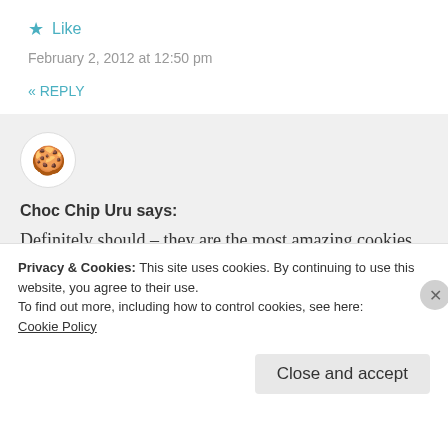★ Like
February 2, 2012 at 12:50 pm
« REPLY
[Figure (illustration): Cookie avatar in a white circle]
Choc Chip Uru says:
Definitely should – they are the most amazing cookies because their method is so unique – enjoy 😀
Privacy & Cookies: This site uses cookies. By continuing to use this website, you agree to their use.
To find out more, including how to control cookies, see here:
Cookie Policy
Close and accept